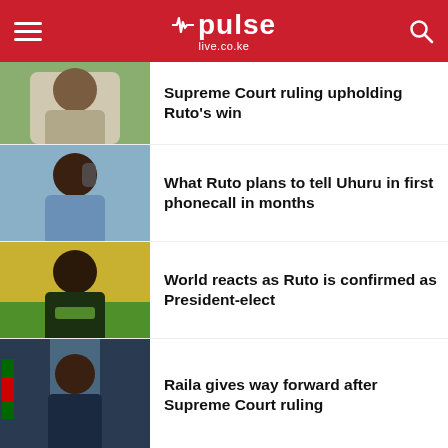pulse live.co.ke
Supreme Court ruling upholding Ruto's win
What Ruto plans to tell Uhuru in first phonecall in months
World reacts as Ruto is confirmed as President-elect
Raila gives way forward after Supreme Court ruling